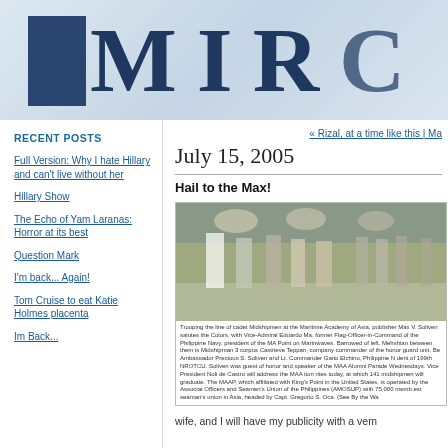[Figure (logo): Blog header banner with large letters 'MIRC' in dark blue serif font on light blue/grey background with dark blue square on left]
RECENT POSTS
Full Version: Why I hate Hillary and can't live without her
Hillary Show
The Echo of Yam Laranas: Horror at its best
Question Mark
I'm back... Again!
Tom Cruise to eat Katie Holmes placenta
Im Back...
« Rizal, at a time like this | Ma
July 15, 2005
Hail to the Max!
[Figure (photo): Newspaper photo showing people trooping the line of cadet midshipmen at the Maritime Academy of Asia, with Max V. Soliven and Vice-Admiral Eduardo Ma.]
Trooping the line of cadet Midshipmen at the Maritime Academy of Asia, publisher Max V. Soliven salutes the Colors, with Vice-Admiral Eduardo Ma. former Flag-Officer-in-Command of the Philippine Navy, president of the MA Point on Marinwaves. Barrowed of left, Mehshian between them is Midshipman 3 corpus Castrieve Teppan, company commander of the honor guard unit. Be Ambassador Precious S. Soliven and Lt. Commander Gario Elchino, Philippine N dent of 199th NROTCU. Soliven was guest of honor and speaker of the MAA Alumni Parade Wednesdays. Vice President Noli de Castro will address the MAA tion rites today, at which 141 midshipmen will graduate. The MAAP, which affiliated with King's Point in the United States, is operated by the Associat Officers and Seamen's Union of the Philippines (AMOSUP) with 75,000 memb est seaman's union in Asia, headed by Capt. Gregorio S. Oca. (See By the Wa
wife, and I will have my publicity with a vem